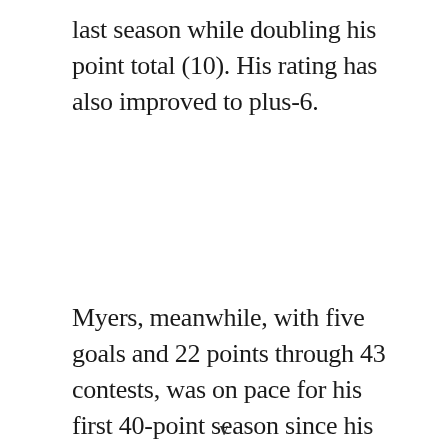last season while doubling his point total (10). His rating has also improved to plus-6.
Myers, meanwhile, with five goals and 22 points through 43 contests, was on pace for his first 40-point season since his Calder Trophy
v